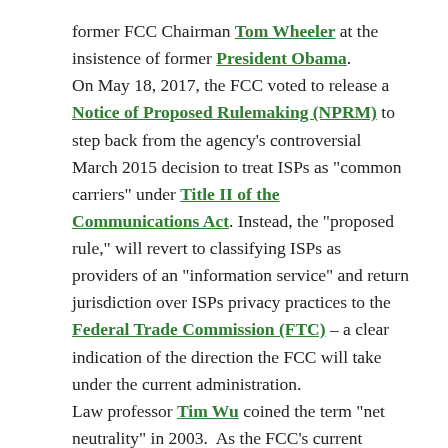former FCC Chairman Tom Wheeler at the insistence of former President Obama. On May 18, 2017, the FCC voted to release a Notice of Proposed Rulemaking (NPRM) to step back from the agency's controversial March 2015 decision to treat ISPs as "common carriers" under Title II of the Communications Act. Instead, the "proposed rule," will revert to classifying ISPs as providers of an "information service" and return jurisdiction over ISPs privacy practices to the Federal Trade Commission (FTC) – a clear indication of the direction the FCC will take under the current administration. Law professor Tim Wu coined the term "net neutrality" in 2003. As the FCC's current Chairman Pai recently noted in an interview in the Wall Street Journal, the term "[i]s one of the more seductive marketing slogans that's ever been attached to a public policy issue". Who can be against